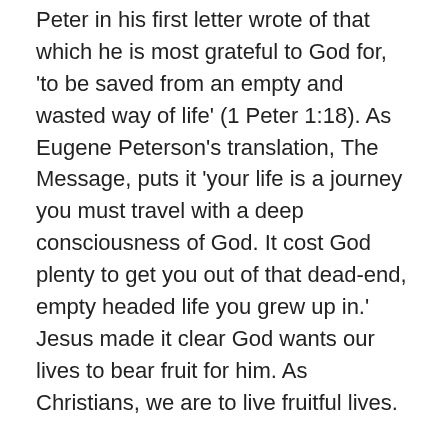Peter in his first letter wrote of that which he is most grateful to God for, 'to be saved from an empty and wasted way of life' (1 Peter 1:18). As Eugene Peterson's translation, The Message, puts it 'your life is a journey you must travel with a deep consciousness of God. It cost God plenty to get you out of that dead-end, empty headed life you grew up in.' Jesus made it clear God wants our lives to bear fruit for him. As Christians, we are to live fruitful lives.
Last week Jim expounded our Motto text for this year – Genesis 49:22 about Joseph being 'a fruitful vine, a fruitful vine near a spring, whose branches climb over the wall.' He applied it to us all; we are to be a fruitful vine, near a spring, whose branches climb over the wall. Such a fruitful vine is one that is strong, well-rooted, vigorous and healthy stock. We are to bear fruit for God; the fruit of a